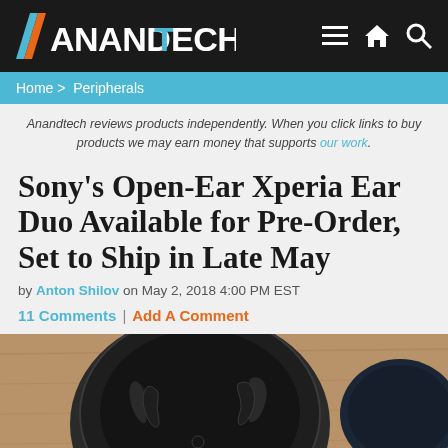ANANDTECH
Home > Peripherals
Anandtech reviews products independently. When you click links to buy products we may earn money that supports our work.
Sony’s Open-Ear Xperia Ear Duo Available for Pre-Order, Set to Ship in Late May
by Anton Shilov on May 2, 2018 4:00 PM EST
11 Comments | Add A Comment
[Figure (photo): Close-up photo of Sony Xperia Ear Duo wireless earbuds in their charging case, viewed from above on a wooden surface, showing the black circular case with the earbuds hooked inside]